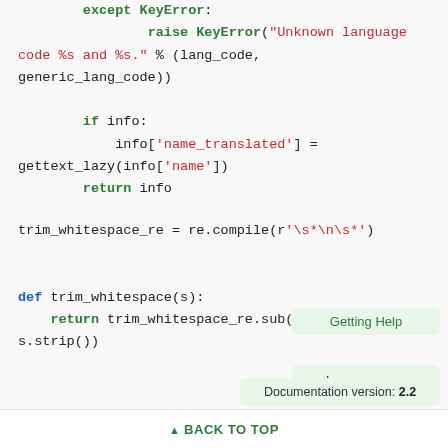Code block showing Python exception handling, language info lookup, trim_whitespace_re assignment, and def trim_whitespace function.
Getting Help
Language: en
Documentation version: 2.2
BACK TO TOP